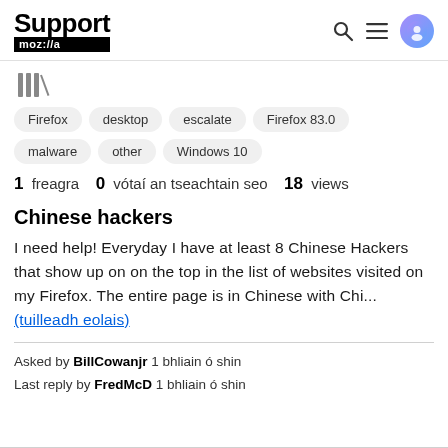Support mozilla// [search] [menu] [avatar]
[Figure (other): Bar chart icon graphic (library/bookmark bars)]
Firefox
desktop
escalate
Firefox 83.0
malware
other
Windows 10
1 freagra   0 vótaí an tseachtain seo   18 views
Chinese hackers
I need help! Everyday I have at least 8 Chinese Hackers that show up on on the top in the list of websites visited on my Firefox. The entire page is in Chinese with Chi... (tuilleadh eolais)
Asked by BillCowanjr 1 bhliain ó shin
Last reply by FredMcD 1 bhliain ó shin